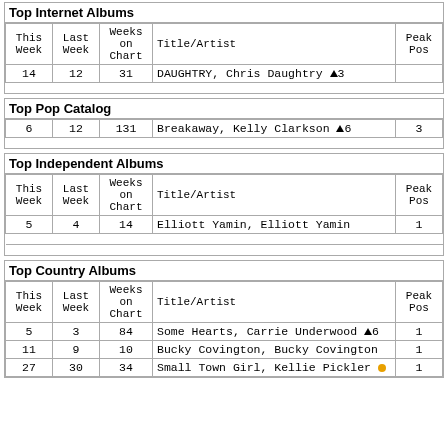Top Internet Albums
| This Week | Last Week | Weeks on Chart | Title/Artist | Peak Pos |
| --- | --- | --- | --- | --- |
| 14 | 12 | 31 | DAUGHTRY, Chris Daughtry ▲3 |  |
Top Pop Catalog
|  |  |  |  |  |
| --- | --- | --- | --- | --- |
| 6 | 12 | 131 | Breakaway, Kelly Clarkson ▲6 | 3 |
Top Independent Albums
| This Week | Last Week | Weeks on Chart | Title/Artist | Peak Pos |
| --- | --- | --- | --- | --- |
| 5 | 4 | 14 | Elliott Yamin, Elliott Yamin | 1 |
Top Country Albums
| This Week | Last Week | Weeks on Chart | Title/Artist | Peak Pos |
| --- | --- | --- | --- | --- |
| 5 | 3 | 84 | Some Hearts, Carrie Underwood ▲6 | 1 |
| 11 | 9 | 10 | Bucky Covington, Bucky Covington | 1 |
| 27 | 30 | 34 | Small Town Girl, Kellie Pickler ● | 1 |